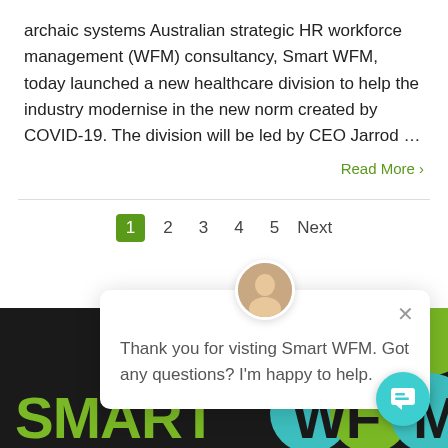archaic systems Australian strategic HR workforce management (WFM) consultancy, Smart WFM, today launched a new healthcare division to help the industry modernise in the new norm created by COVID-19. The division will be led by CEO Jarrod …
Read More >
1  2  3  4  5  Next
Thank you for visting Smart WFM. Got any questions? I'm happy to help.
[Figure (logo): Smart WFM logo on dark background with green and teal circle icons]